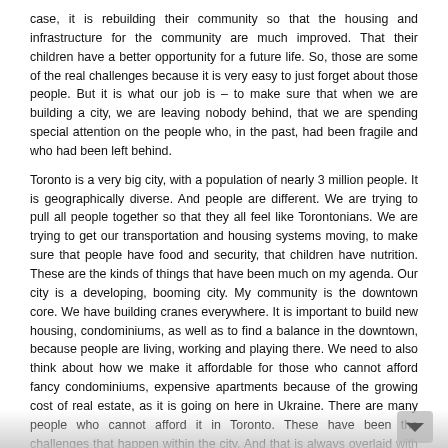case, it is rebuilding their community so that the housing and infrastructure for the community are much improved. That their children have a better opportunity for a future life. So, those are some of the real challenges because it is very easy to just forget about those people. But it is what our job is – to make sure that when we are building a city, we are leaving nobody behind, that we are spending special attention on the people who, in the past, had been fragile and who had been left behind.
Toronto is a very big city, with a population of nearly 3 million people. It is geographically diverse. And people are different. We are trying to pull all people together so that they all feel like Torontonians. We are trying to get our transportation and housing systems moving, to make sure that people have food and security, that children have nutrition. These are the kinds of things that have been much on my agenda. Our city is a developing, booming city. My community is the downtown core. We have building cranes everywhere. It is important to build new housing, condominiums, as well as to find a balance in the downtown, because people are living, working and playing there. We need to also think about how we make it affordable for those who cannot afford fancy condominiums, expensive apartments because of the growing cost of real estate, as it is going on here in Ukraine. There are many people who cannot afford it in Toronto. These have been the challenges that happen within the city. And that is always overlaid with the matter of looking at the most vulnerable. And I would say that those are the women in our community. It is important to have those women on the Council and to get enough voices of women who are thinking about the lives of other women and how women can interface with the city.